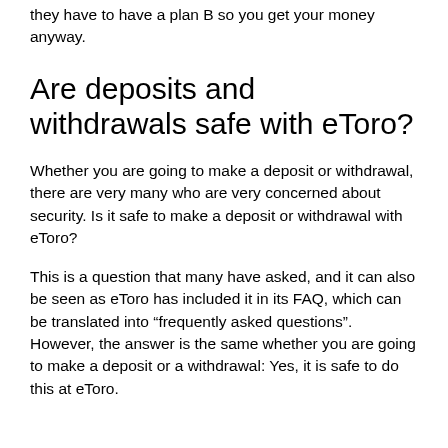they have to have a plan B so you get your money anyway.
Are deposits and withdrawals safe with eToro?
Whether you are going to make a deposit or withdrawal, there are very many who are very concerned about security. Is it safe to make a deposit or withdrawal with eToro?
This is a question that many have asked, and it can also be seen as eToro has included it in its FAQ, which can be translated into “frequently asked questions”. However, the answer is the same whether you are going to make a deposit or a withdrawal: Yes, it is safe to do this at eToro.